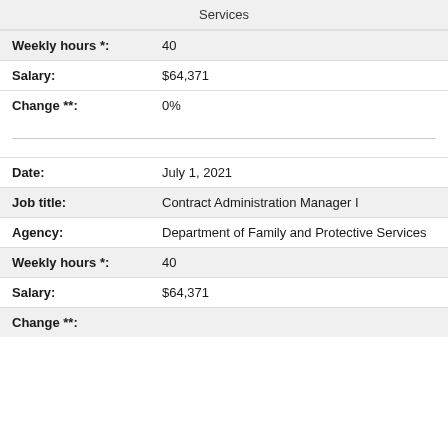| Services |  |
| Weekly hours *: | 40 |
| Salary: | $64,371 |
| Change **: | 0% |
| Date: | July 1, 2021 |
| Job title: | Contract Administration Manager I |
| Agency: | Department of Family and Protective Services |
| Weekly hours *: | 40 |
| Salary: | $64,371 |
| Change **: |  |